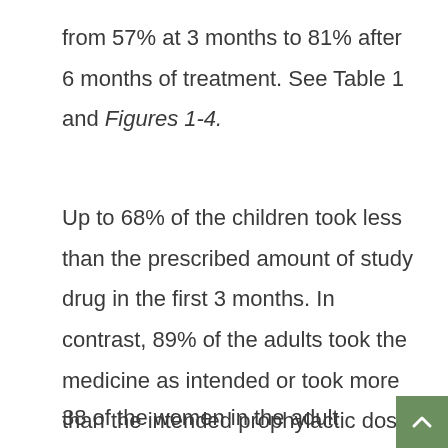from 57% at 3 months to 81% after 6 months of treatment. See Table 1 and Figures 1-4.
Up to 68% of the children took less than the prescribed amount of study drug in the first 3 months. In contrast, 89% of the adults took the medicine as intended or took more than the intended prophylactic dose.
38 of the women in the adult group wer